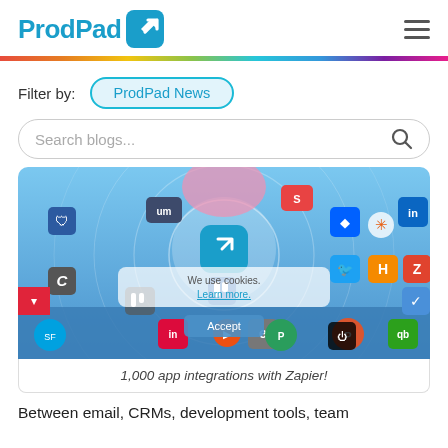ProdPad [logo]
Filter by:  ProdPad News
Search blogs...
[Figure (screenshot): ProdPad integrations graphic showing the ProdPad logo in the center surrounded by ~30 app integration icons (Dropbox, LinkedIn, Twitter, Zapier, QuickBooks, etc.) on a blue gradient background, with a cookie consent overlay showing 'We use cookies. Learn more.' and an Accept button.]
1,000 app integrations with Zapier!
Between email, CRMs, development tools, team